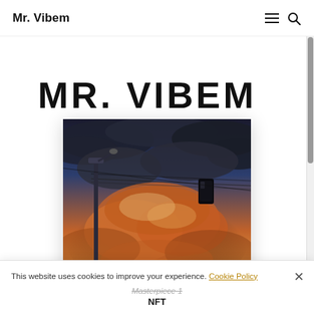Mr. Vibem
MR. VIBEM
[Figure (illustration): Digital artwork showing a dramatic sunset scene with voluminous orange and dark storm clouds, a street lamp post on the left, telegraph wires, a road in the foreground, and a small dark rectangular object (phone or screen) floating center-right in the sky. The mood is surreal and cinematic.]
This website uses cookies to improve your experience. Cookie Policy
Masterpiece 1
NFT